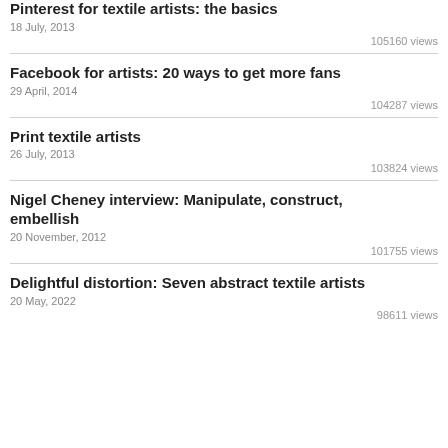Pinterest for textile artists: the basics
18 July, 2013
105160 views
Facebook for artists: 20 ways to get more fans
29 April, 2014
104287 views
Print textile artists
26 July, 2013
103824 views
Nigel Cheney interview: Manipulate, construct, embellish
20 November, 2012
101755 views
Delightful distortion: Seven abstract textile artists
20 May, 2022
98611 views